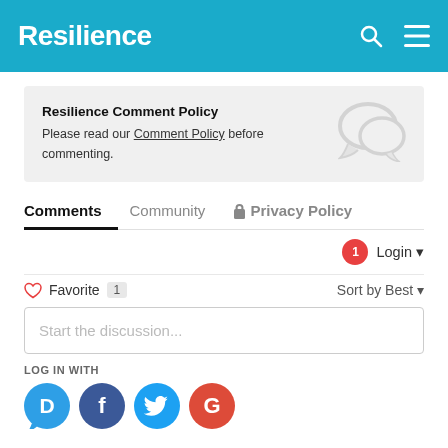Resilience
Resilience Comment Policy
Please read our Comment Policy before commenting.
Comments  Community  Privacy Policy
1  Login
Favorite  1  Sort by Best
Start the discussion...
LOG IN WITH
[Figure (infographic): Social login icons: Disqus (blue speech bubble with D), Facebook (dark blue circle with f), Twitter (blue circle with bird), Google (red circle with G)]